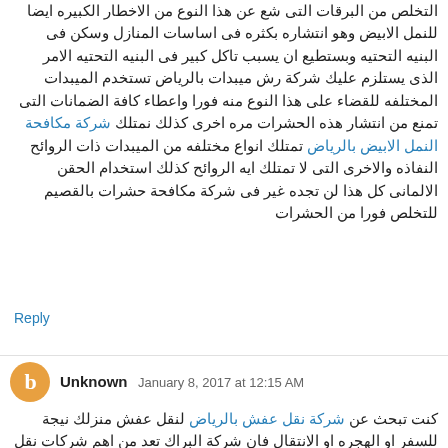التخلص من البرقات التى شع عن هذا النوع من الاخطار الكبيره ايضا للنمل الابيض وهو انتشاره بكثره فى اساسات المنازل وسكن فى البنيه التحتيه وبستطيع ان يسبب تاكل كبير فى البنيه التحتيه الامر الذى يستلزم عليك شركة رش مبيدات بالرياض تستخدم الميبدات المختلفه للقضاء على هذا النوع منه فورا واعطاء كافة الضمانات التى تمنع من انتشار هذه الحشرات مره اخرى كذلك نمتلك شركة مكافحة النمل الابيض بالرياض تمتلك انواع مختلفه من الميبدات ذات الروائح النفاذه والاخرى التى لا تمتلك ايه الروائح كذلك استخدام الحقن الالمانى كل هذا لن تجده غير فى شركة مكافحة حشرات بالقصيم للتخلص فورا من الحشرات
Reply
Unknown  January 8, 2017 at 12:15 AM
كنت تبحث عن شركة نقل عفش بالرياض لنقل عفش منزلك نيجة للسفر او الهجره او الانتقال فان شركة البراك تعد من اهم شركات نقل عفش بالرياض لها سمعتها الكبيره فى اعمال نقل وتخزين الاثاث فهى ايضا شركة تخزين عفش بالرياض لتخزين الاثاث لفترات اذا منت بحاجه الى تخزين الاثاث . شركة البراك شركة تخزين عفش بالرياض تمتلك العماله المدريه في اعمال فك